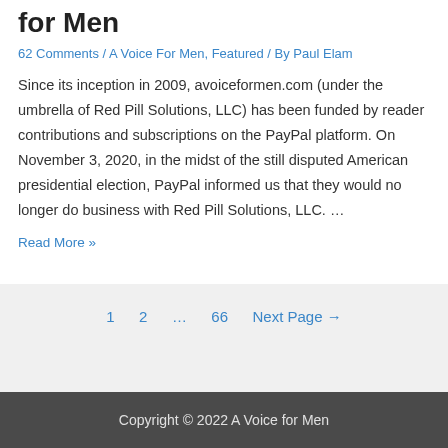for Men
62 Comments / A Voice For Men, Featured / By Paul Elam
Since its inception in 2009, avoiceformen.com (under the umbrella of Red Pill Solutions, LLC) has been funded by reader contributions and subscriptions on the PayPal platform. On November 3, 2020, in the midst of the still disputed American presidential election, PayPal informed us that they would no longer do business with Red Pill Solutions, LLC. …
Read More »
1  2  ...  66  Next Page →
Copyright © 2022 A Voice for Men